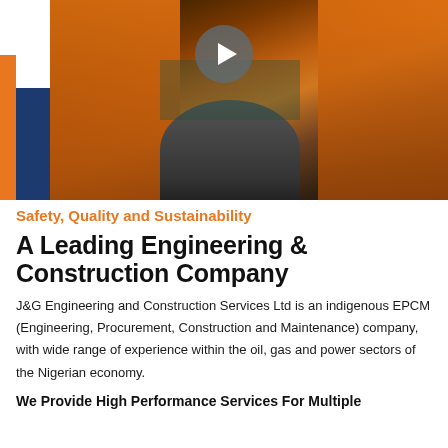[Figure (photo): Workers in orange high-visibility coveralls working on industrial equipment (large flange/pipe fitting) in an oil & gas facility. A video play button overlay is visible in the center-top of the image. Decorative orange and dark blue vertical stripes appear on the left side.]
Safety, Quality and Sustainability
A Leading Engineering & Construction Company
J&G Engineering and Construction Services Ltd is an indigenous EPCM (Engineering, Procurement, Construction and Maintenance) company, with wide range of experience within the oil, gas and power sectors of the Nigerian economy.
We Provide High Performance Services For Multiple